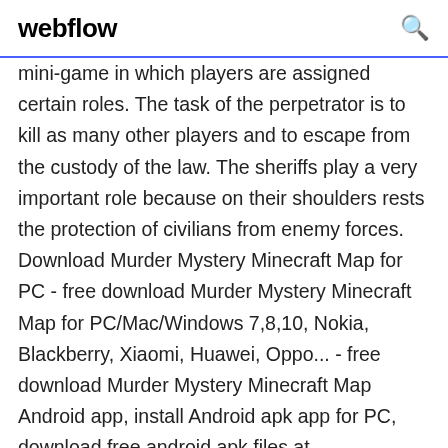webflow 🔍
mini-game in which players are assigned certain roles. The task of the perpetrator is to kill as many other players and to escape from the custody of the law. The sheriffs play a very important role because on their shoulders rests the protection of civilians from enemy forces. Download Murder Mystery Minecraft Map for PC - free download Murder Mystery Minecraft Map for PC/Mac/Windows 7,8,10, Nokia, Blackberry, Xiaomi, Huawei, Oppo... - free download Murder Mystery Minecraft Map Android app, install Android apk app for PC, download free android apk files at choilieng.com Murder in Minecraft is a 3 to 8 player PvP minigame made for 1.8 the latest